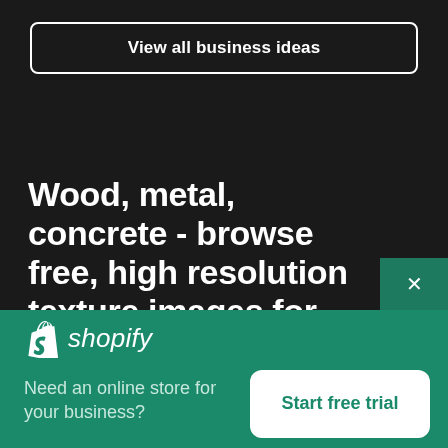View all business ideas
Wood, metal, concrete - browse free, high resolution texture images for designers
[Figure (logo): Shopify logo with bag icon and italic shopify wordmark]
Need an online store for your business?
Start free trial